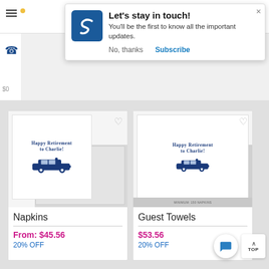[Figure (screenshot): Mobile web browser screenshot showing a subscription popup notification and product listing for retirement-themed napkins and guest towels]
Let's stay in touch!
You'll be the first to know all the important updates.
No, thanks
Subscribe
Happy Retirement to Charlie!
Napkins
From: $45.56
20% OFF
Happy Retirement to Charlie!
Guest Towels
$53.56
20% OFF